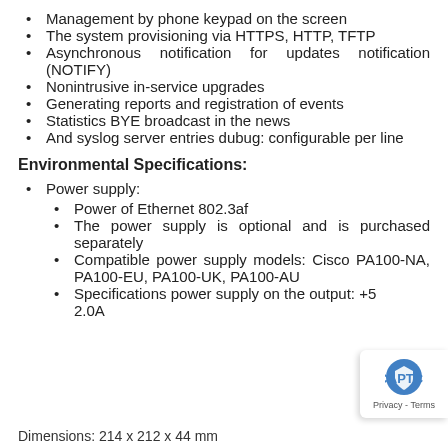Management by phone keypad on the screen
The system provisioning via HTTPS, HTTP, TFTP
Asynchronous notification for updates notification (NOTIFY)
Nonintrusive in-service upgrades
Generating reports and registration of events
Statistics BYE broadcast in the news
And syslog server entries dubug: configurable per line
Environmental Specifications:
Power supply:
Power of Ethernet 802.3af
The power supply is optional and is purchased separately
Compatible power supply models: Cisco PA100-NA, PA100-EU, PA100-UK, PA100-AU
Specifications power supply on the output: +5 2.0A
Dimensions: 214 x 212 x 44 mm